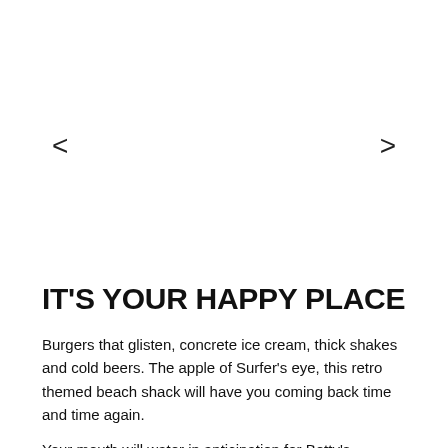[Figure (other): Navigation arrow left (<) for an image carousel]
[Figure (other): Navigation arrow right (>) for an image carousel]
IT'S YOUR HAPPY PLACE
Burgers that glisten, concrete ice cream, thick shakes and cold beers. The apple of Surfer's eye, this retro themed beach shack will have you coming back time and time again.
Your mouth will water in anticipation for Betty's Burgers